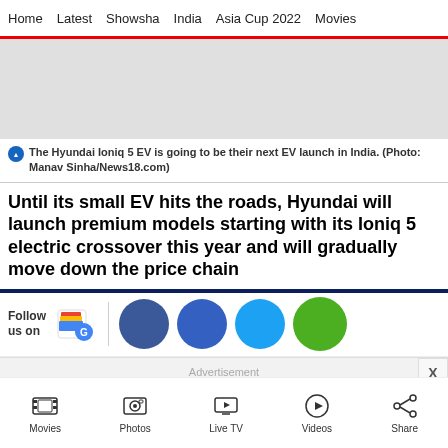Home  Latest  Showsha  India  Asia Cup 2022  Movies
[Figure (photo): Grey placeholder image of the Hyundai Ioniq 5 EV]
The Hyundai Ioniq 5 EV is going to be their next EV launch in India. (Photo: Manav Sinha/News18.com)
Until its small EV hits the roads, Hyundai will launch premium models starting with its Ioniq 5 electric crossover this year and will gradually move down the price chain
[Figure (infographic): Follow us on bar with Google News icon and social media circles (Facebook, Twitter, WhatsApp, green circle)]
Advertisement
Movies  Photos  Live TV  Videos  Share